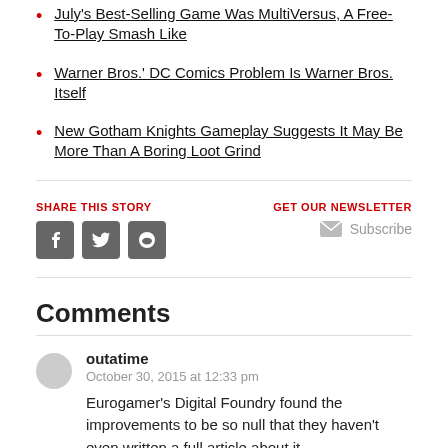July's Best-Selling Game Was MultiVersus, A Free-To-Play Smash Like
Warner Bros.' DC Comics Problem Is Warner Bros. Itself
New Gotham Knights Gameplay Suggests It May Be More Than A Boring Loot Grind
SHARE THIS STORY
GET OUR NEWSLETTER
Subscribe
Comments
outatime
October 30, 2015 at 12:33 pm
Eurogamer's Digital Foundry found the improvements to be so null that they haven't even written a full article about it.